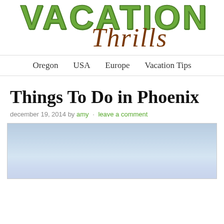[Figure (logo): Vacation Thrills blog logo with sketched green 'VACATION' text and brown italic 'Thrills' cursive text overlapping]
Oregon  USA  Europe  Vacation Tips
Things To Do in Phoenix
december 19, 2014 by amy · leave a comment
[Figure (photo): Partial photo showing a light blue sky, cropped at the bottom of the page]